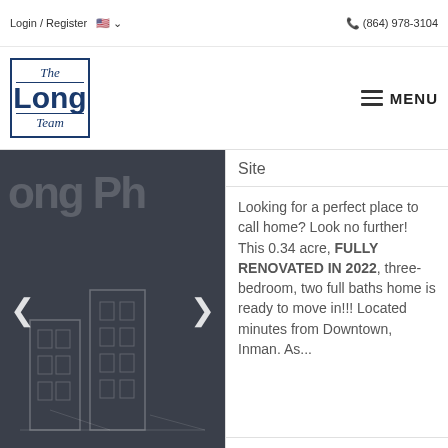Login / Register
(864) 978-3104
[Figure (logo): The Long Team real estate logo in a blue-bordered box with stylized serif/sans text]
MENU
[Figure (photo): Dark gray property listing photo placeholder with building outlines and left/right navigation arrows]
Site
Looking for a perfect place to call home? Look no further! This 0.34 acre, FULLY RENOVATED IN 2022, three-bedroom, two full baths home is ready to move in!!! Located minutes from Downtown, Inman. As...
Ponce Realty Group